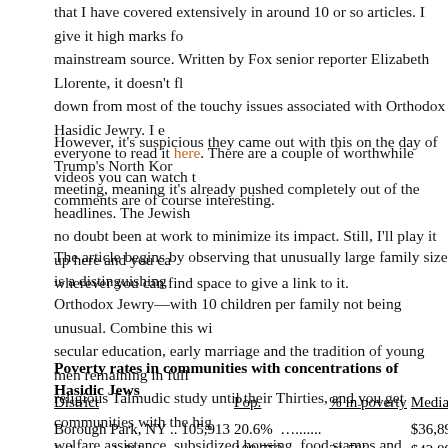that I have covered extensively in around 10 or so articles. I give it high marks for a mainstream source. Written by Fox senior reporter Elizabeth Llorente, it doesn't fl... down from most of the touchy issues associated with Orthodox Hasidic Jewry. I e... everyone to read it here. There are a couple of worthwhile videos you can watch t... comments are of course interesting.
However, it's suspicious they came out with this on the day of Trump's North Kore... meeting, meaning it's already pushed completely out of the headlines. The Jewish... no doubt been at work to minimize its impact. Still, I'll play it up here and you car... wherever you can find space to give a link to it.
The article begins by observing that unusually large family size is a distinguishing... Orthodox Jewry—with 10 children per family not being unusual. Combine this wi... secular education, early marriage and the tradition of young men remaining in full... religious Talmudic study until their Thirties, and you get communities with the hig... welfare assistance, subsidized housing, food stamps and Medicaid. Indeed, the all-... village of New Square, north of New York City has 77 percent of residents receivi... stamps in order to eat, the highest rate in the U.S.
Poverty rates in communities with concentrations of Hasidic Jews
| District | Pop. | % in poverty | Median h/h income |
| --- | --- | --- | --- |
| Borough Park, NY .. 105,913 | 20.6% | …....... | $36,893 |
| Lakewood, NJ ... | 109,752 | 21.5% | $42,893 |